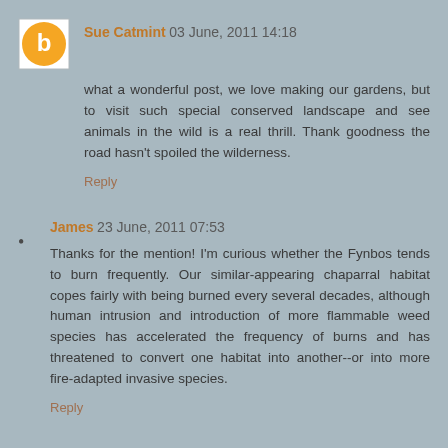Sue Catmint 03 June, 2011 14:18
what a wonderful post, we love making our gardens, but to visit such special conserved landscape and see animals in the wild is a real thrill. Thank goodness the road hasn't spoiled the wilderness.
Reply
James 23 June, 2011 07:53
Thanks for the mention! I'm curious whether the Fynbos tends to burn frequently. Our similar-appearing chaparral habitat copes fairly with being burned every several decades, although human intrusion and introduction of more flammable weed species has accelerated the frequency of burns and has threatened to convert one habitat into another--or into more fire-adapted invasive species.
Reply